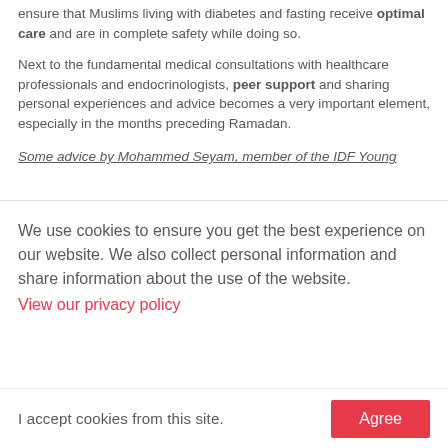ensure that Muslims living with diabetes and fasting receive optimal care and are in complete safety while doing so.
Next to the fundamental medical consultations with healthcare professionals and endocrinologists, peer support and sharing personal experiences and advice becomes a very important element, especially in the months preceding Ramadan.
Some advice by Mohammed Seyam, member of the IDF Young Leaders Cohort 2021
We use cookies to ensure you get the best experience on our website. We also collect personal information and share information about the use of the website.
View our privacy policy
I accept cookies from this site.